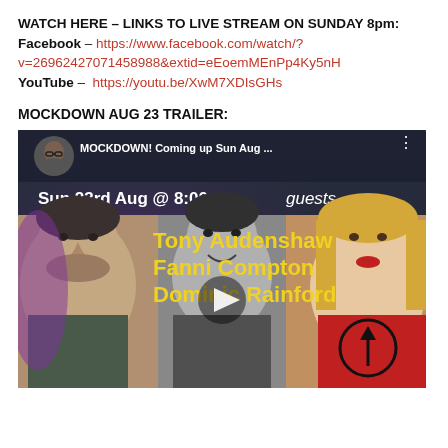WATCH HERE – LINKS TO LIVE STREAM ON SUNDAY 8pm: Facebook – https://www.facebook.com/watch/?v=26962427071458988&extid=eEoemMEnPp4Ky5nH YouTube – https://youtu.be/XwM7XDIsGHs
MOCKDOWN AUG 23 TRAILER:
[Figure (screenshot): Video thumbnail showing MOCKDOWN! Coming up Sun Aug ... with text Sun 23rd Aug @ 8:00pm guests Tony Audenshaw Fanni Compton Dominic Rainford, featuring three faces: a man on the left, a young man in the center (black and white), and a blonde woman on the right, with a play button in the center.]